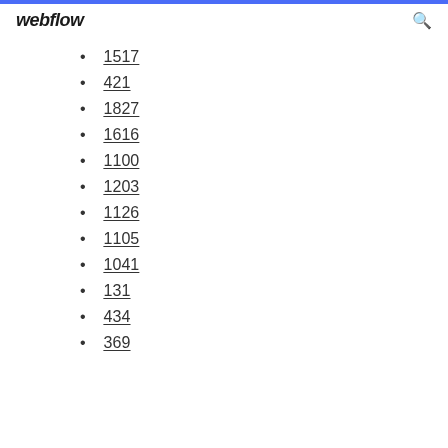webflow
1517
421
1827
1616
1100
1203
1126
1105
1041
131
434
369